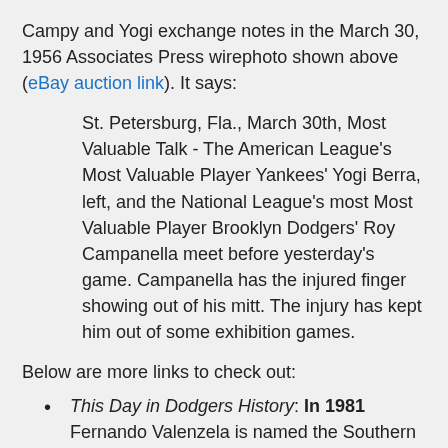Campy and Yogi exchange notes in the March 30, 1956 Associates Press wirephoto shown above (eBay auction link). It says:
St. Petersburg, Fla., March 30th, Most Valuable Talk - The American League's Most Valuable Player Yankees' Yogi Berra, left, and the National League's most Most Valuable Player Brooklyn Dodgers' Roy Campanella meet before yesterday's game. Campanella has the injured finger showing out of his mitt. The injury has kept him out of some exhibition games.
Below are more links to check out:
This Day in Dodgers History: In 1981 Fernando Valenzela is named the Southern California Athlete of the Year by the sports editors of the Southlands major newspapers. This caps off a fantastic season where he was an All-Star, wins the Cy Young, Rookie of the Year, Silver Slugger and a World Series ring for the Dodgers. He also